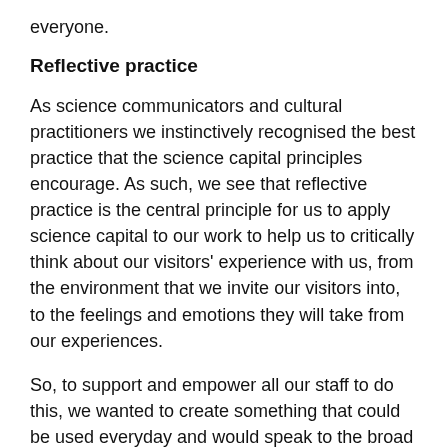everyone.
Reflective practice
As science communicators and cultural practitioners we instinctively recognised the best practice that the science capital principles encourage. As such, we see that reflective practice is the central principle for us to apply science capital to our work to help us to critically think about our visitors' experience with us, from the environment that we invite our visitors into, to the feelings and emotions they will take from our experiences.
So, to support and empower all our staff to do this, we wanted to create something that could be used everyday and would speak to the broad range of work that we do in our museums. Following trials of a few ideas based on the source research, we created a set of reflection points which have been informed by the 8 dimensions of science capital and wider science engagement best practice. They are also founded on